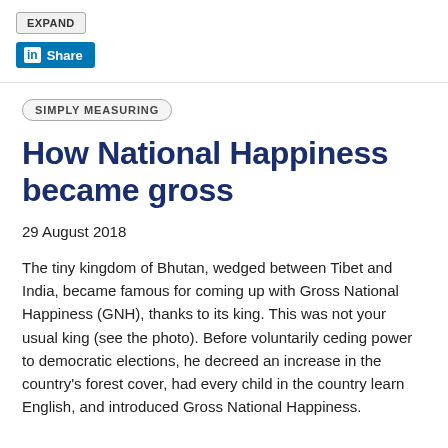[Figure (other): EXPAND button and LinkedIn Share button]
SIMPLY MEASURING
How National Happiness became gross
29 August 2018
The tiny kingdom of Bhutan, wedged between Tibet and India, became famous for coming up with Gross National Happiness (GNH), thanks to its king. This was not your usual king (see the photo). Before voluntarily ceding power to democratic elections, he decreed an increase in the country's forest cover, had every child in the country learn English, and introduced Gross National Happiness.